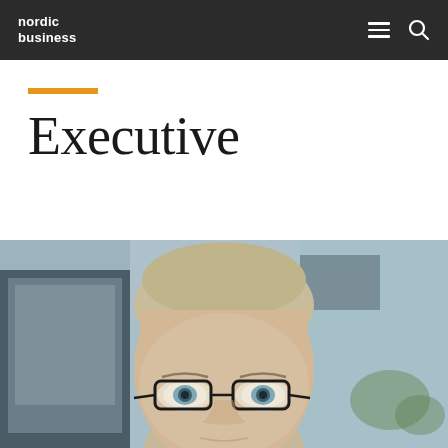nordic business
Executive
[Figure (photo): Close-up portrait of a middle-aged man with short blonde-grey hair and dark-rimmed glasses, blue eyes, photographed in an office setting with blurred background including framed pictures and plants.]